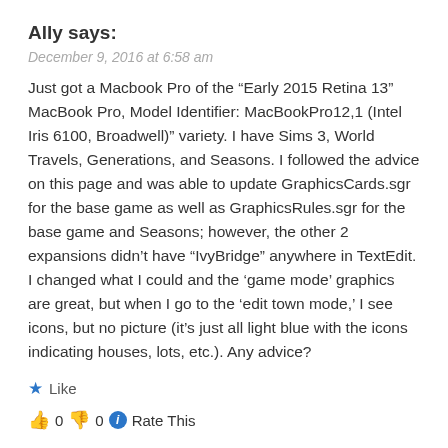Ally says:
December 9, 2016 at 6:58 am
Just got a Macbook Pro of the “Early 2015 Retina 13” MacBook Pro, Model Identifier: MacBookPro12,1 (Intel Iris 6100, Broadwell)” variety. I have Sims 3, World Travels, Generations, and Seasons. I followed the advice on this page and was able to update GraphicsCards.sgr for the base game as well as GraphicsRules.sgr for the base game and Seasons; however, the other 2 expansions didn’t have “IvyBridge” anywhere in TextEdit. I changed what I could and the ‘game mode’ graphics are great, but when I go to the ‘edit town mode,’ I see icons, but no picture (it’s just all light blue with the icons indicating houses, lots, etc.). Any advice?
★ Like
👍 0 👎 0 ⓘ Rate This
REPLY
BluebellFlora says: